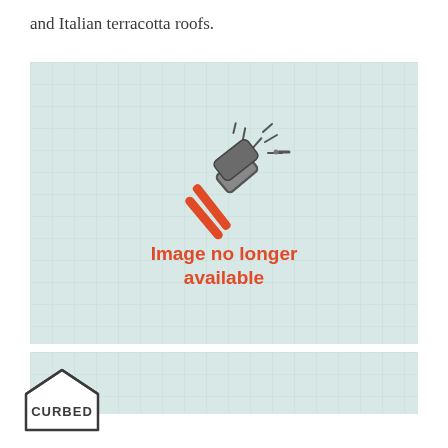and Italian terracotta roofs.
[Figure (other): Placeholder image with a hammer icon and text reading 'Image no longer available' in orange/red bold text, on a light blue-green grid background.]
[Figure (other): Second placeholder image strip with light blue-green grid background, partially visible.]
[Figure (logo): Curbed New Orleans logo: a house outline shape with 'CURBED' in bold text inside and 'NEW ORLEANS' below in small caps.]